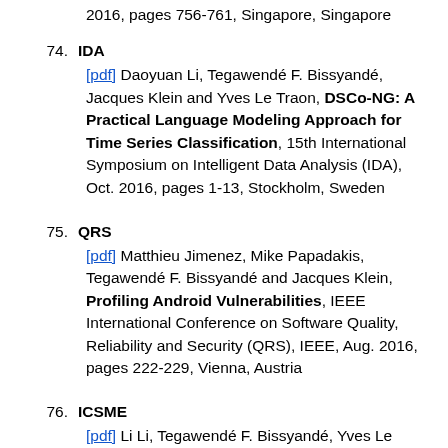2016, pages 756-761, Singapore, Singapore
74. IDA
[pdf] Daoyuan Li, Tegawendé F. Bissyandé, Jacques Klein and Yves Le Traon, DSCo-NG: A Practical Language Modeling Approach for Time Series Classification, 15th International Symposium on Intelligent Data Analysis (IDA), Oct. 2016, pages 1-13, Stockholm, Sweden
75. QRS
[pdf] Matthieu Jimenez, Mike Papadakis, Tegawendé F. Bissyandé and Jacques Klein, Profiling Android Vulnerabilities, IEEE International Conference on Software Quality, Reliability and Security (QRS), IEEE, Aug. 2016, pages 222-229, Vienna, Austria
76. ICSME
[pdf] Li Li, Tegawendé F. Bissyandé, Yves Le Traon